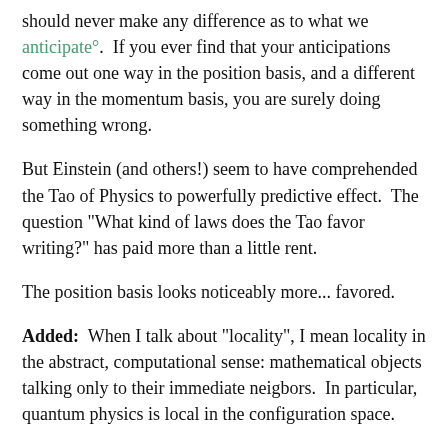should never make any difference as to what we anticipate°.  If you ever find that your anticipations come out one way in the position basis, and a different way in the momentum basis, you are surely doing something wrong.
But Einstein (and others!) seem to have comprehended the Tao of Physics to powerfully predictive effect.  The question "What kind of laws does the Tao favor writing?" has paid more than a little rent.
The position basis looks noticeably more... favored.
Added:  When I talk about "locality", I mean locality in the abstract, computational sense: mathematical objects talking only to their immediate neigbors.  In particular, quantum physics is local in the configuration space.
This also happens to translate into physics that is local in